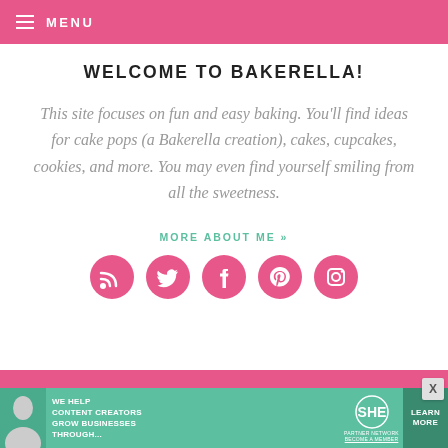MENU
WELCOME TO BAKERELLA!
This site focuses on fun and easy baking. You’ll find ideas for cake pops (a Bakerella creation), cakes, cupcakes, cookies, and more. You may even find yourself smiling from all the sweetness.
MORE ABOUT ME »
[Figure (infographic): Five pink circular social media icons: RSS, Twitter, Facebook, Pinterest, Instagram]
[Figure (infographic): SHE Partner Network advertisement banner in teal green with text: WE HELP CONTENT CREATORS GROW BUSINESSES THROUGH... and LEARN MORE button]